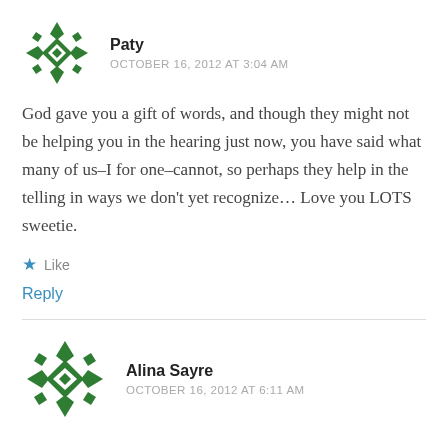[Figure (illustration): Green decorative avatar icon with geometric cross/diamond pattern for user Paty]
Paty
OCTOBER 16, 2012 AT 3:04 AM
God gave you a gift of words, and though they might not be helping you in the hearing just now, you have said what many of us–I for one–cannot, so perhaps they help in the telling in ways we don't yet recognize… Love you LOTS sweetie.
★ Like
Reply
[Figure (illustration): Green decorative avatar icon with geometric cross/diamond pattern for user Alina Sayre]
Alina Sayre
OCTOBER 16, 2012 AT 6:11 AM